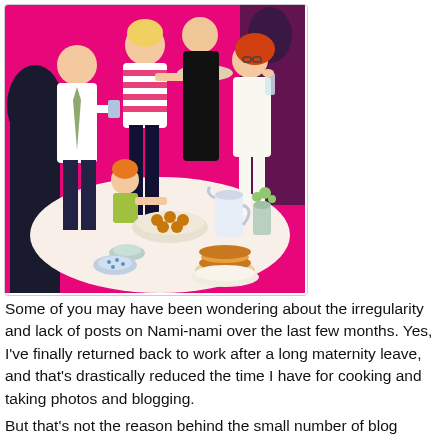[Figure (illustration): Colorful cartoon illustration on a bright pink background showing a group of people at a party or gathering around a table with food. Characters include a man in a white jacket with a tie, a woman in a striped top holding a tray of food, a tall figure in a black turtleneck, a woman with red hair in white holding a glass, and a child reaching for food. On the table are plates of food, a pitcher, a vase with flowers, a burger on a plate, and other dishes.]
Some of you may have been wondering about the irregularity and lack of posts on Nami-nami over the last few months. Yes, I've finally returned back to work after a long maternity leave, and that's drastically reduced the time I have for cooking and taking photos and blogging.
But that's not the reason behind the small number of blog